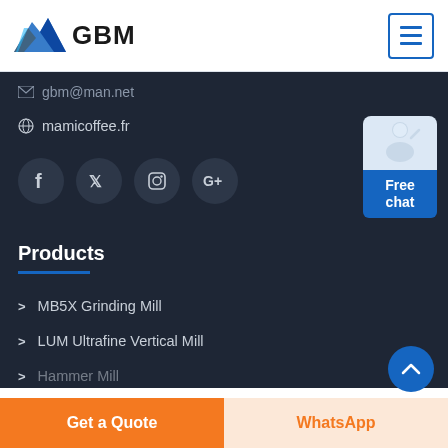[Figure (logo): GBM logo with blue mountain/arrow graphic and bold GBM text]
[Figure (other): Hamburger menu button with three blue horizontal lines in a blue-bordered square]
gbm@man.net
mamicoffee.fr
[Figure (other): Social media icons: Facebook, Twitter, Instagram, Google+ in dark circular buttons]
[Figure (other): Free chat widget with figure and blue button labeled Free chat]
Products
MB5X Grinding Mill
LUM Ultrafine Vertical Mill
Hammer Mill
[Figure (other): Blue circular scroll-up button with upward chevron arrow]
Get a Quote
WhatsApp